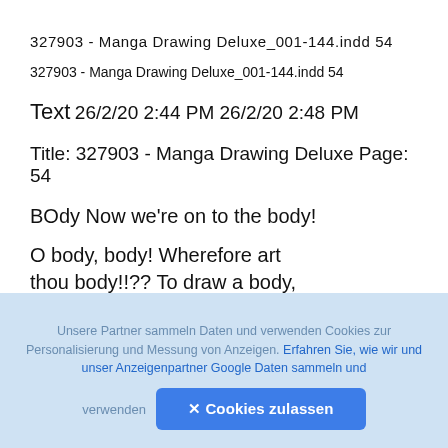327903 - Manga Drawing Deluxe_001-144.indd 54
327903 - Manga Drawing Deluxe_001-144.indd 54
Text
26/2/20 2:44 PM 26/2/20 2:48 PM
Title: 327903 - Manga Drawing Deluxe Page: 54
BOdy Now we're on to the body!
O body, body! Wherefore art thou body!!?? To draw a body, you absolutely need joints! And guidelines.
Unsere Partner sammeln Daten und verwenden Cookies zur Personalisierung und Messung von Anzeigen. Erfahren Sie, wie wir und unser Anzeigenpartner Google Daten sammeln und verwenden
✕ Cookies zulassen